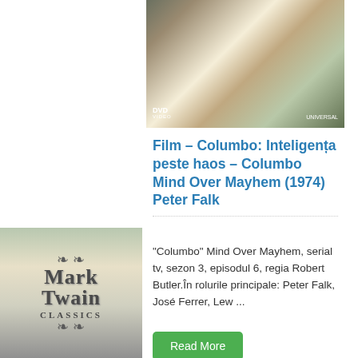[Figure (photo): DVD cover image of Columbo - man in jacket holding a cigar, with DVD Video and Universal logos visible]
Film – Columbo: Inteligența peste haos – Columbo Mind Over Mayhem (1974) Peter Falk
"Columbo" Mind Over Mayhem, serial tv, sezon 3, episodul 6, regia Robert Butler.În rolurile principale: Peter Falk, José Ferrer, Lew ...
Read More
[Figure (photo): Mark Twain Classics book/DVD cover with ornate lettering showing MARK TWAIN CLASSICS]